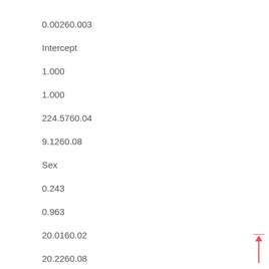0.00260.003
Intercept
1.000
1.000
224.5760.04
9.1260.08
Sex
0.243
0.963
20.0160.02
20.2260.08